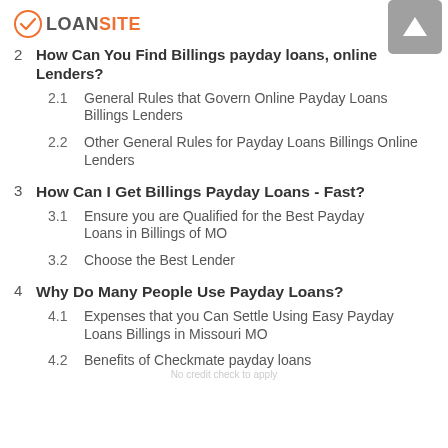LOANSITE
2  How Can You Find Billings payday loans, online Lenders?
2.1  General Rules that Govern Online Payday Loans Billings Lenders
2.2  Other General Rules for Payday Loans Billings Online Lenders
3  How Can I Get Billings Payday Loans - Fast?
3.1  Ensure you are Qualified for the Best Payday Loans in Billings of MO
3.2  Choose the Best Lender
4  Why Do Many People Use Payday Loans?
4.1  Expenses that you Can Settle Using Easy Payday Loans Billings in Missouri MO
4.2  Benefits of Checkmate payday loans